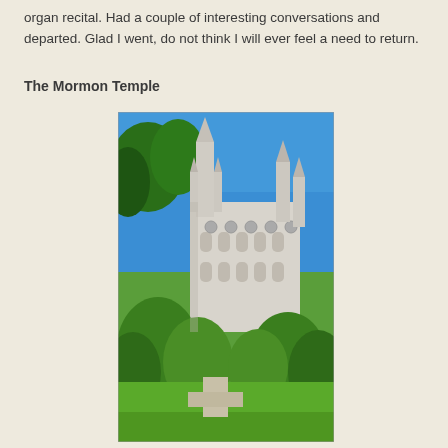organ recital.  Had a couple of interesting conversations and departed.  Glad I went, do not think I will ever feel a need to return.
The Mormon Temple
[Figure (photo): Photograph of the Mormon Temple (Salt Lake Temple) with Gothic spires rising above lush green trees against a bright blue sky. The white granite building features multiple spires, ornate Gothic-style windows and decorative elements. Green lawn and trees are visible in the foreground.]